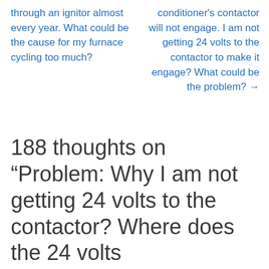through an ignitor almost every year. What could be the cause for my furnace cycling too much?
conditioner's contactor will not engage. I am not getting 24 volts to the contactor to make it engage? What could be the problem? →
188 thoughts on “Problem: Why I am not getting 24 volts to the contactor? Where does the 24 volts come from?”